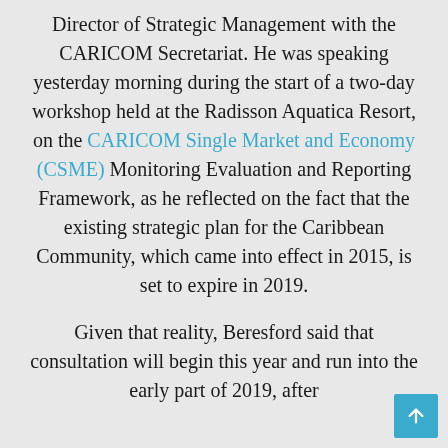Director of Strategic Management with the CARICOM Secretariat. He was speaking yesterday morning during the start of a two-day workshop held at the Radisson Aquatica Resort, on the CARICOM Single Market and Economy (CSME) Monitoring Evaluation and Reporting Framework, as he reflected on the fact that the existing strategic plan for the Caribbean Community, which came into effect in 2015, is set to expire in 2019.
Given that reality, Beresford said that consultation will begin this year and run into the early part of 2019, after